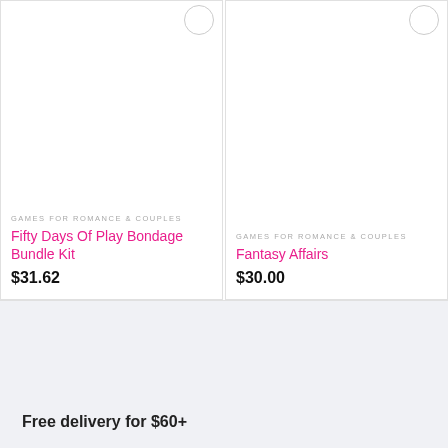GAMES FOR ROMANCE & COUPLES
Fifty Days Of Play Bondage Bundle Kit
$31.62
GAMES FOR ROMANCE & COUPLES
Fantasy Affairs
$30.00
Free delivery for $60+